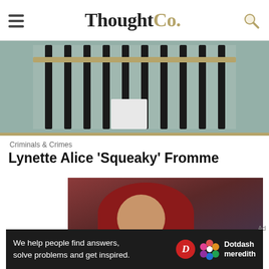ThoughtCo.
[Figure (photo): Top partial photo showing prison bars with gold/yellow accents against a teal-green background]
Criminals & Crimes
Lynette Alice 'Squeaky' Fromme
[Figure (photo): Photo of Lynette 'Squeaky' Fromme wearing a red hooded garment, holding yellow folders, with dark background]
Ad
We help people find answers, solve problems and get inspired. Dotdash meredith